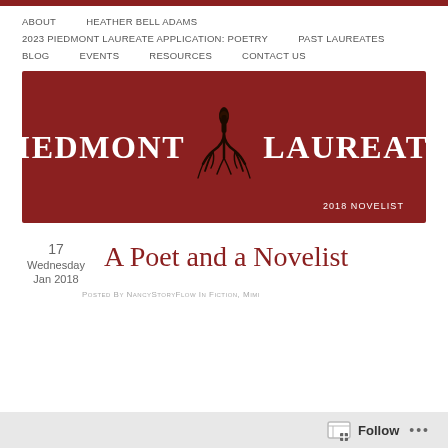ABOUT   HEATHER BELL ADAMS
2023 PIEDMONT LAUREATE APPLICATION: POETRY   PAST LAUREATES
BLOG   EVENTS   RESOURCES   CONTACT US
[Figure (logo): Piedmont Laureate banner with dark red background, white serif text reading PIEDMONT LAUREATE, a pen/root tree logo in the center, and '2018 NOVELIST' in the bottom right]
A Poet and a Novelist
17
Wednesday
Jan 2018
POSTED BY NANCYSTORYFLOW IN FICTION, MIMI